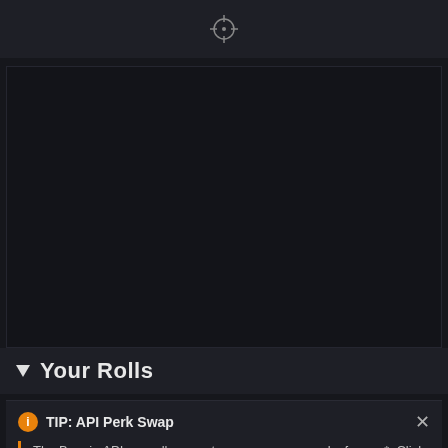[Figure (screenshot): Dark top bar with a crosshair/reticle icon centered at top]
[Figure (screenshot): Dark empty panel area, representing a weapon/item display region]
Your Rolls
TIP: API Perk Swap
The Bungie API now allows us to swap weapon perks for you*. Click individual perks below to swap them in-game.